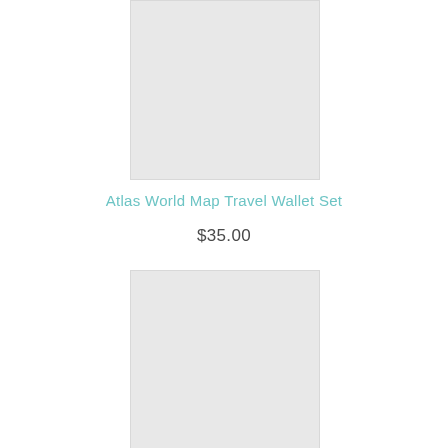[Figure (photo): Product image placeholder - top, light gray rectangle]
Atlas World Map Travel Wallet Set
$35.00
[Figure (photo): Product image placeholder - bottom, light gray rectangle]